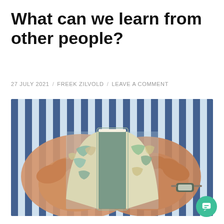What can we learn from other people?
27 JULY 2021 / FREEK ZILVOLD / LEAVE A COMMENT
[Figure (photo): Close-up of a person wearing a blue and white striped shirt, holding open a small atlas/world map book with both hands. A watch is visible on the right wrist.]